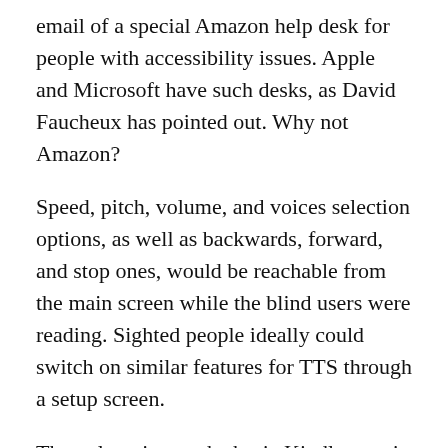email of a special Amazon help desk for people with accessibility issues. Apple and Microsoft have such desks, as David Faucheux has pointed out. Why not Amazon?
Speed, pitch, volume, and voices selection options, as well as backwards, forward, and stop ones, would be reachable from the main screen while the blind users were reading. Sighted people ideally could switch on similar features for TTS through a setup screen.
The only voice on the basic Kindle now is too high-pitched for some older people to comprehend the words well. So those voice choices would help.